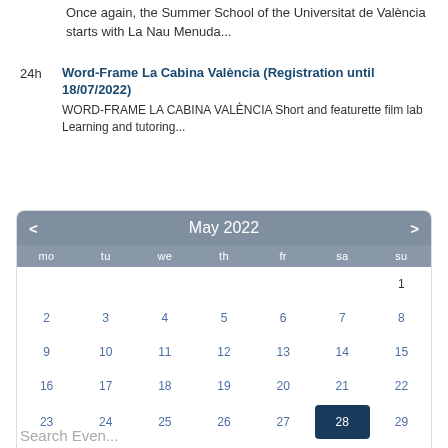Once again, the Summer School of the Universitat de València starts with La Nau Menuda...
24h — Word-Frame La Cabina València (Registration until 18/07/2022) — WORD-FRAME LA CABINA VALÈNCIA Short and featurette film lab Learning and tutoring...
[Figure (other): Interactive calendar showing May 2022 with navigation arrows. Days of week headers (mo, tu, we, th, fr, sa, su). Date 28 is highlighted in dark navy blue. Calendar cells show dates 1-31.]
Search Events